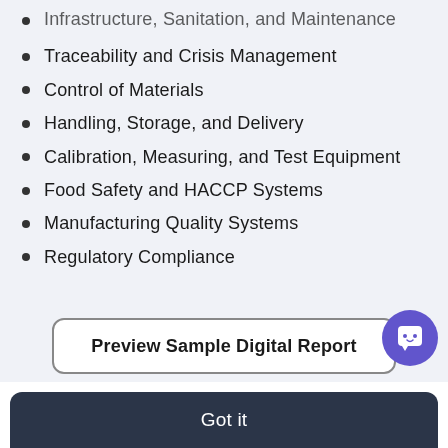Infrastructure, Sanitation, and Maintenance
Traceability and Crisis Management
Control of Materials
Handling, Storage, and Delivery
Calibration, Measuring, and Test Equipment
Food Safety and HACCP Systems
Manufacturing Quality Systems
Regulatory Compliance
Preview Sample Digital Report
We use cookies to provide necessary website functionality and improve your experience. To find out more, read our updated Privacy Policy.
Got it